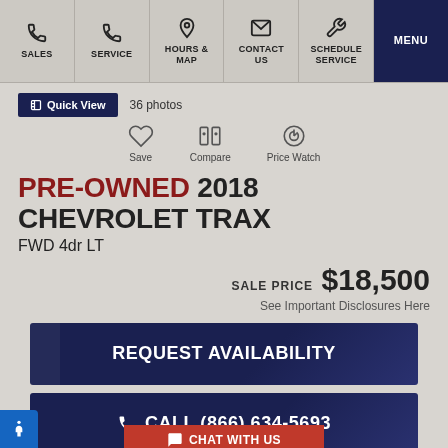SALES | SERVICE | HOURS & MAP | CONTACT US | SCHEDULE SERVICE | MENU
Quick View  36 photos
Save  Compare  Price Watch
PRE-OWNED 2018 CHEVROLET TRAX
FWD 4dr LT
SALE PRICE $18,500
See Important Disclosures Here
REQUEST AVAILABILITY
CALL (866) 634-5693
CHAT WITH US